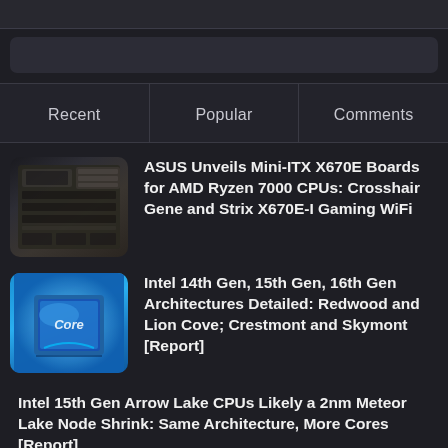Recent | Popular | Comments
ASUS Unveils Mini-ITX X670E Boards for AMD Ryzen 7000 CPUs: Crosshair Gene and Strix X670E-I Gaming WiFi
Intel 14th Gen, 15th Gen, 16th Gen Architectures Detailed: Redwood and Lion Cove; Crestmont and Skymont [Report]
Intel 15th Gen Arrow Lake CPUs Likely a 2nm Meteor Lake Node Shrink: Same Architecture, More Cores [Report]